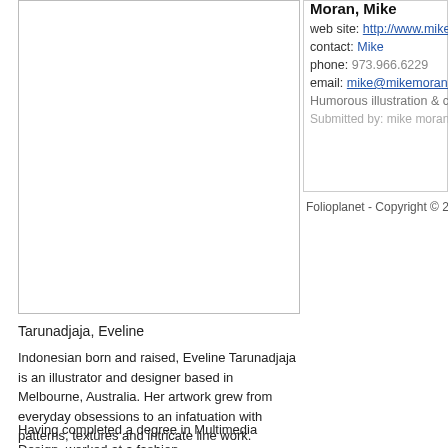[Figure (illustration): White rectangle image placeholder with gray border]
Moran, Mike
web site: http://www.mike...
contact: Mike
phone: 973.966.6229
email: mike@mikemoran.n...
Humorous illustration & cart...
Submitted by: mike moran h...
Folioplanet - Copyright © 2018...
Tarunadjaja, Eveline
Indonesian born and raised, Eveline Tarunadjaja is an illustrator and designer based in Melbourne, Australia. Her artwork grew from everyday obsessions to an infatuation with patterns, textures and intricate line work.
Having completed a degree in Multimedia Design, worked at a fashion ...